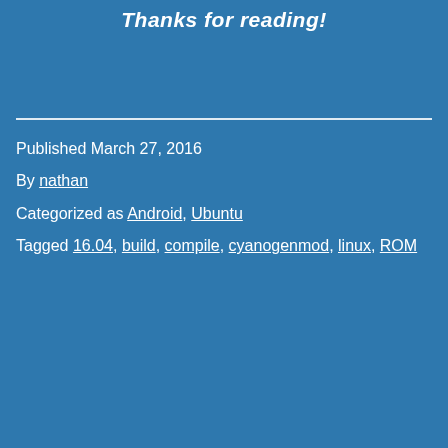Thanks for reading!
Published March 27, 2016
By nathan
Categorized as Android, Ubuntu
Tagged 16.04, build, compile, cyanogenmod, linux, ROM